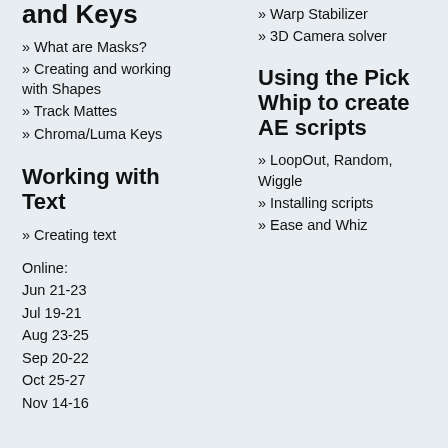and Keys
» What are Masks?
» Creating and working with Shapes
» Track Mattes
» Chroma/Luma Keys
Working with Text
» Creating text
Online:
Jun 21-23
Jul 19-21
Aug 23-25
Sep 20-22
Oct 25-27
Nov 14-16
» Warp Stabilizer
» 3D Camera solver
Using the Pick Whip to create AE scripts
» LoopOut, Random, Wiggle
» Installing scripts
» Ease and Whiz